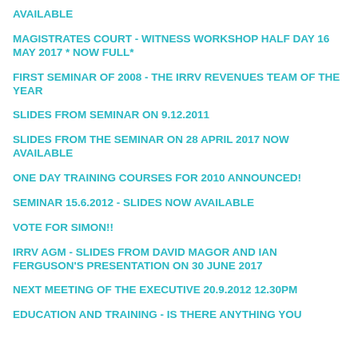AVAILABLE
MAGISTRATES COURT - WITNESS WORKSHOP HALF DAY 16 MAY 2017 * NOW FULL*
FIRST SEMINAR OF 2008 - THE IRRV REVENUES TEAM OF THE YEAR
SLIDES FROM SEMINAR ON 9.12.2011
SLIDES FROM THE SEMINAR ON 28 APRIL 2017 NOW AVAILABLE
ONE DAY TRAINING COURSES FOR 2010 ANNOUNCED!
SEMINAR 15.6.2012 - SLIDES NOW AVAILABLE
VOTE FOR SIMON!!
IRRV AGM - SLIDES FROM DAVID MAGOR AND IAN FERGUSON'S PRESENTATION ON 30 JUNE 2017
NEXT MEETING OF THE EXECUTIVE 20.9.2012 12.30PM
EDUCATION AND TRAINING - IS THERE ANYTHING YOU